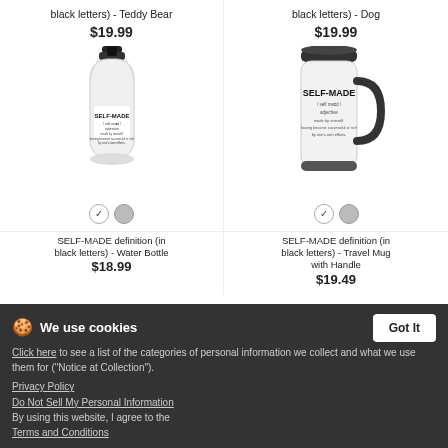black letters) - Teddy Bear
$19.99
[Figure (photo): White water bottle with SELF-MADE definition printed in black letters]
black letters) - Dog
$19.99
[Figure (photo): White travel mug with handle, SELF-MADE definition printed in black letters]
SELF-MADE definition (in black letters) - Water Bottle
$18.99
SELF-MADE definition (in black letters) - Travel Mug with Handle
$19.49
We use cookies
Click here to see a list of the categories of personal information we collect and what we use them for ("Notice at Collection").
Privacy Policy
Do Not Sell My Personal Information
By using this website, I agree to the Terms and Conditions